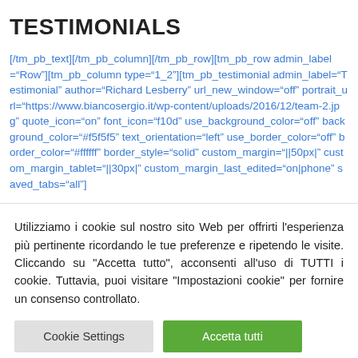TESTIMONIALS
[/tm_pb_text][/tm_pb_column][/tm_pb_row][tm_pb_row admin_label="Row"][tm_pb_column type="1_2"][tm_pb_testimonial admin_label="Testimonial" author="Richard Lesberry" url_new_window="off" portrait_url="https://www.biancosergio.it/wp-content/uploads/2016/12/team-2.jpg" quote_icon="on" font_icon="f10d" use_background_color="off" background_color="#f5f5f5" text_orientation="left" use_border_color="off" border_color="#ffffff" border_style="solid" custom_margin="||50px|" custom_margin_tablet="||30px|" custom_margin_last_edited="on|phone" saved_tabs="all"]
Utilizziamo i cookie sul nostro sito Web per offrirti l'esperienza più pertinente ricordando le tue preferenze e ripetendo le visite. Cliccando su "Accetta tutto", acconsenti all'uso di TUTTI i cookie. Tuttavia, puoi visitare "Impostazioni cookie" per fornire un consenso controllato.
Cookie Settings | Accetta tutti